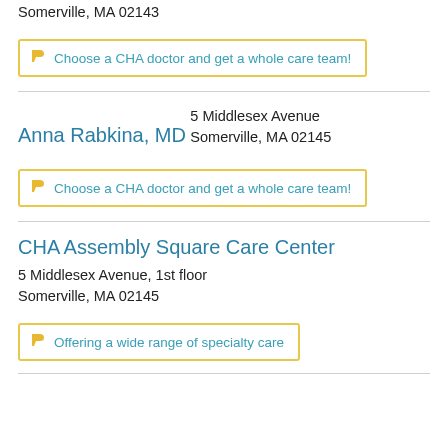Somerville, MA 02143
Choose a CHA doctor and get a whole care team!
Anna Rabkina, MD
5 Middlesex Avenue
Somerville, MA 02145
Choose a CHA doctor and get a whole care team!
CHA Assembly Square Care Center
5 Middlesex Avenue, 1st floor
Somerville, MA 02145
Offering a wide range of specialty care